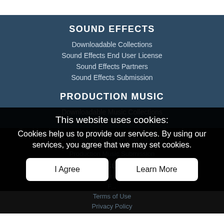SOUND EFFECTS
Downloadable Collections
Sound Effects End User License
Sound Effects Partners
Sound Effects Submission
PRODUCTION MUSIC
Downloadable Music Collections
Production Music End User License
This website uses cookies:
Cookies help us to provide our services. By using our services, you agree that we may set cookies.
FAQ & SUPPORT
I Agree
Learn More
Terms of Use
Privacy Policy